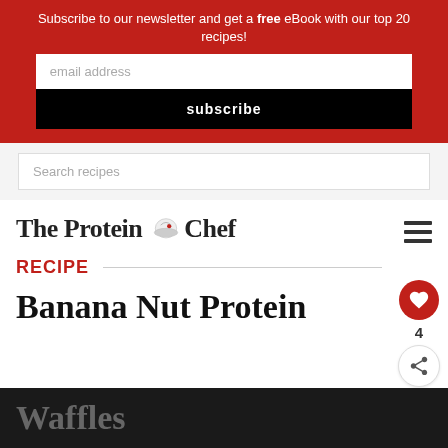Subscribe to our newsletter and get a free eBook with our top 20 recipes!
email address
subscribe
Search recipes
[Figure (logo): The Protein Chef logo with chef hat icon and hamburger menu icon]
RECIPE
Banana Nut Protein Waffles